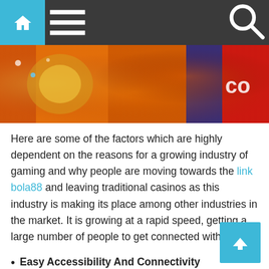Navigation bar with home, menu, and search icons
[Figure (photo): Colorful casino/gaming image with orange, yellow, red, and blue tones showing casino chips or decorative elements]
Here are some of the factors which are highly dependent on the reasons for a growing industry of gaming and why people are moving towards the link bola88 and leaving traditional casinos as this industry is making its place among other industries in the market. It is growing at a rapid speed, getting a large number of people to get connected with it.
Easy Accessibility And Connectivity
As you know, today, every industry is going online, whether it is fashion, marketing or gaming. The pace and speed at which the internet has changed and taken its place in all the sectors is very impressive. It has changed our view of accessing things.
As it has become a primary factor for the growth of the gaming